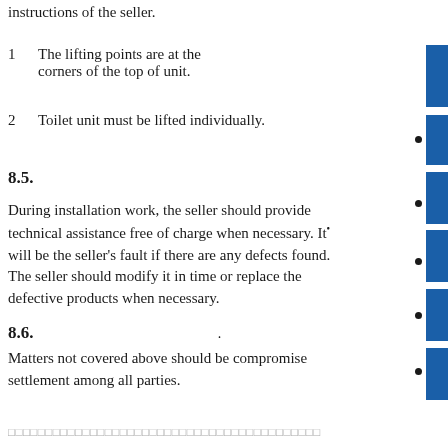instructions of the seller.
1    The lifting points are at the corners of the top of unit.
2    Toilet unit must be lifted individually.
8.5.
During installation work, the seller should provide technical assistance free of charge when necessary. It will be the seller's fault if there are any defects found. The seller should modify it in time or replace the defective products when necessary.
8.6.
Matters not covered above should be compromise settlement among all parties.
□□□□□□□□□□□□□□□□□□□□□□□□□□□□□□□□□□□□□□□□□□□□